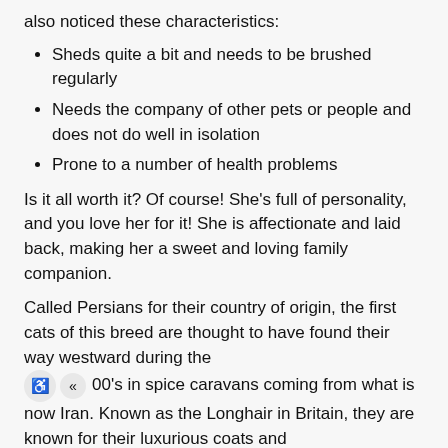also noticed these characteristics:
Sheds quite a bit and needs to be brushed regularly
Needs the company of other pets or people and does not do well in isolation
Prone to a number of health problems
Is it all worth it? Of course! She’s full of personality, and you love her for it! She is affectionate and laid back, making her a sweet and loving family companion.
Called Persians for their country of origin, the first cats of this breed are thought to have found their way westward during the 00’s in spice caravans coming from what is now Iran. Known as the Longhair in Britain, they are known for their luxurious coats and